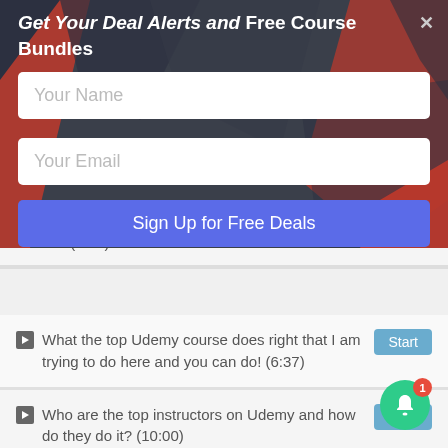Get Your Deal Alerts and Free Course Bundles
Your Name
Your Email
Sign Up for Free Deals
started! (5:49)
What the top Udemy course does right that I am trying to do here and you can do! (6:37)
Who are the top instructors on Udemy and how do they do it? (10:00)
Your promo video is HUGE for making sales! Make a good one and